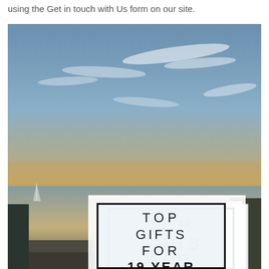using the Get in touch with Us form on our site.
[Figure (photo): Beach sunset scene with dramatic sky and wispy clouds over the ocean, with a semi-transparent white overlay box containing text: TOP GIFTS FOR 19 YEAR OLD]